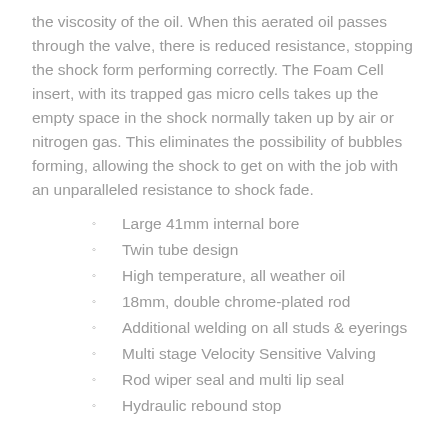the viscosity of the oil. When this aerated oil passes through the valve, there is reduced resistance, stopping the shock form performing correctly. The Foam Cell insert, with its trapped gas micro cells takes up the empty space in the shock normally taken up by air or nitrogen gas. This eliminates the possibility of bubbles forming, allowing the shock to get on with the job with an unparalleled resistance to shock fade.
Large 41mm internal bore
Twin tube design
High temperature, all weather oil
18mm, double chrome-plated rod
Additional welding on all studs & eyerings
Multi stage Velocity Sensitive Valving
Rod wiper seal and multi lip seal
Hydraulic rebound stop